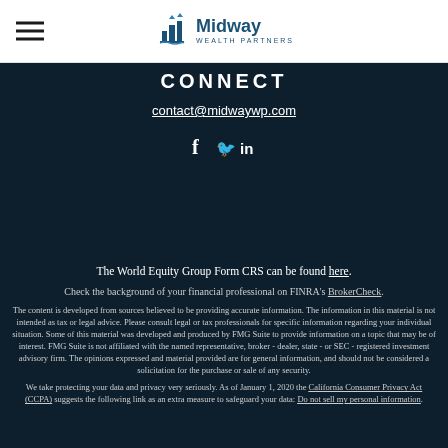Midway Wealth Partners
CONNECT
contact@midwaywp.com
[Figure (illustration): Social media icons: Facebook (f), Twitter (bird), LinkedIn (in)]
The World Equity Group Form CRS can be found here.
Check the background of your financial professional on FINRA's BrokerCheck.
The content is developed from sources believed to be providing accurate information. The information in this material is not intended as tax or legal advice. Please consult legal or tax professionals for specific information regarding your individual situation. Some of this material was developed and produced by FMG Suite to provide information on a topic that may be of interest. FMG Suite is not affiliated with the named representative, broker - dealer, state - or SEC - registered investment advisory firm. The opinions expressed and material provided are for general information, and should not be considered a solicitation for the purchase or sale of any security.
We take protecting your data and privacy very seriously. As of January 1, 2020 the California Consumer Privacy Act (CCPA) suggests the following link as an extra measure to safeguard your data: Do not sell my personal information.